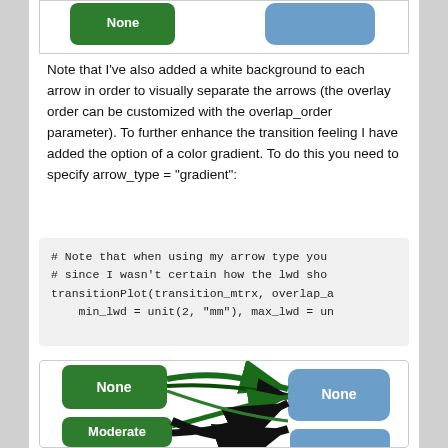[Figure (other): Top portion of a transition diagram with green and blue rounded rectangle nodes, partially visible at top of page]
Note that I've also added a white background to each arrow in order to visually separate the arrows (the overlay order can be customized with the overlap_order parameter). To further enhance the transition feeling I have added the option of a color gradient. To do this you need to specify arrow_type = "gradient":
[Figure (screenshot): Code block showing R code: # Note that when using my arrow type you, # since I wasn't certain how the lwd sho, transitionPlot(transition_mtrx, overlap_a, min_lwd = unit(2, "mm"), max_lwd = un]
[Figure (flowchart): Bottom portion of transition diagram showing green nodes labeled None and Moderate on left, blue nodes labeled None on right, with curved gradient arrows connecting them]